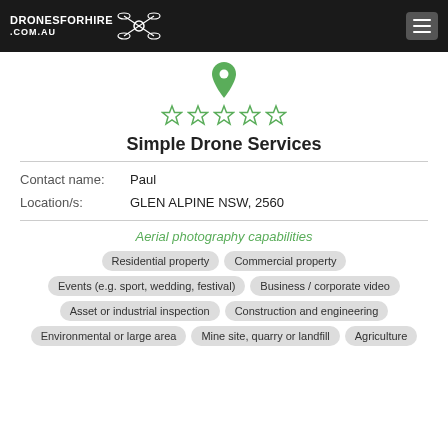DRONESFORHIRE .COM.AU
[Figure (illustration): Green location pin icon above five empty star ratings]
Simple Drone Services
Contact name: Paul
Location/s: GLEN ALPINE NSW, 2560
Aerial photography capabilities
Residential property
Commercial property
Events (e.g. sport, wedding, festival)
Business / corporate video
Asset or industrial inspection
Construction and engineering
Environmental or large area
Mine site, quarry or landfill
Agriculture